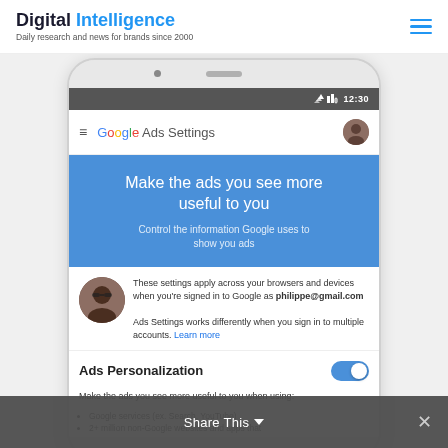Digital Intelligence — Daily research and news for brands since 2000
[Figure (screenshot): Mobile phone screenshot showing Google Ads Settings screen with 'Make the ads you see more useful to you' headline, Ads Personalization toggle set to on, user signed in as philippe@gmail.com]
Share This × (bottom overlay bar)